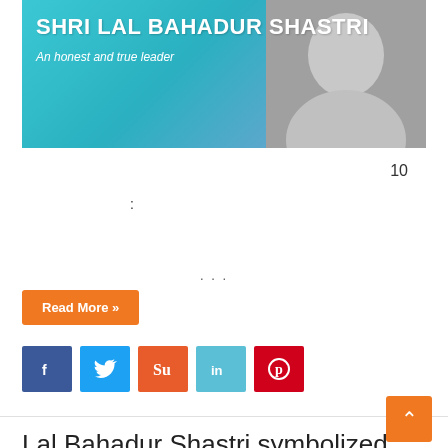[Figure (illustration): Banner image with teal/blue gradient background showing 'SHRI LAL BAHADUR SHASTRI' title in white bold text, subtitle 'An honest and true leader' in white italic, and a grayscale portrait photo on the right side]
10
:
...
Read More »
[Figure (infographic): Social media sharing buttons: Facebook (blue), Twitter (light blue), StumbleUpon (orange-red), LinkedIn (teal), Pinterest (red)]
Lal Bahadur Shastri symbolized the 'idea of India'